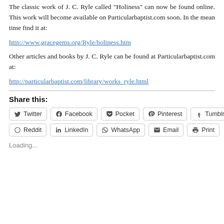The classic work of J. C. Ryle called 'Holiness' can now be found online. This work will become available on Particularbaptist.com soon. In the mean time find it at:
http://www.gracegems.org/Ryle/holiness.htm
Other articles and books by J. C. Ryle can be found at Particularbaptist.com at:
http://particularbaptist.com/library/works_ryle.html
Share this:
Twitter Facebook Pocket Pinterest Tumblr Reddit LinkedIn WhatsApp Email Print
Loading...